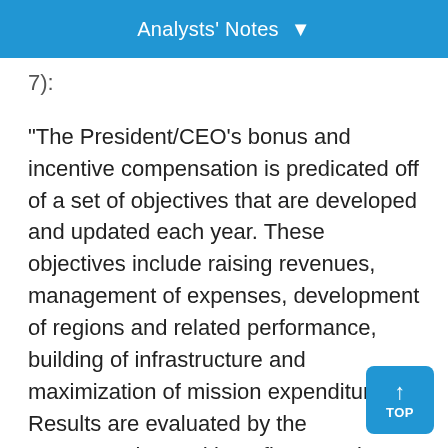Analysts' Notes
7):
"The President/CEO's bonus and incentive compensation is predicated off of a set of objectives that are developed and updated each year. These objectives include raising revenues, management of expenses, development of regions and related performance, building of infrastructure and maximization of mission expenditures. Results are evaluated by the compensation and benefits committee and the incentive is ultimately determined based on ratings of performance of these objectives.
"The Foundation acknowledges all of its other employees through annual lump-sum incentive